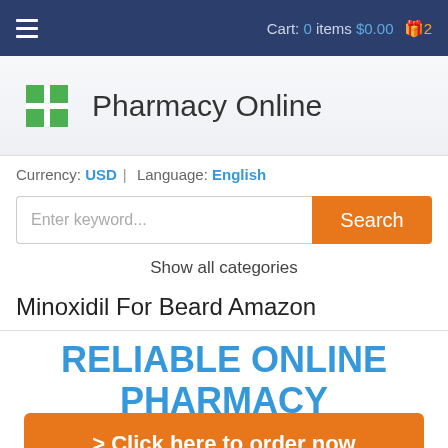Cart: 0 items $0.00 🎁 2
Pharmacy Online
Currency: USD | Language: English
Enter keyword...
Show all categories
Minoxidil For Beard Amazon
RELIABLE ONLINE PHARMACY
> Click here to order now